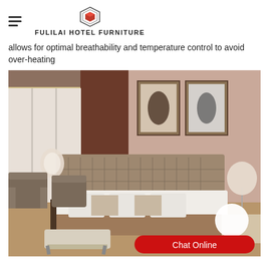FULILAI HOTEL FURNITURE
allows for optimal breathability and temperature control to avoid over-heating
[Figure (photo): Hotel bedroom with large upholstered bed, white bedding with brown runner, two armchairs, nightstands with lamps, framed artwork on pink-beige wall, and a bench at the foot of the bed. Chat Online button overlay in bottom-right corner.]